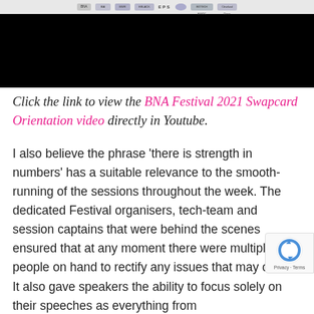[Figure (screenshot): Screenshot of BNA Festival 2021 website/video player with logos of various organizations (BNA, EPS, and others) in a top bar, and a black video player area below.]
Click the link to view the BNA Festival 2021 Swapcard Orientation video directly in Youtube.
I also believe the phrase ‘there is strength in numbers’ has a suitable relevance to the smooth-running of the sessions throughout the week. The dedicated Festival organisers, tech-team and session captains that were behind the scenes ensured that at any moment there were multiple people on hand to rectify any issues that may occur. It also gave speakers the ability to focus solely on their speeches as everything from